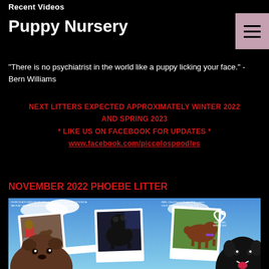Recent Videos
Puppy Nursery
"There is no psychiatrist in the world like a puppy licking your face." -Bern Williams
NEXT LITTERS EXPECTED APPROXIMATELY WINTER 2022 AND SPRING 2023
* LIKE US ON FACEBOOK FOR UPDATES *
www.facebook.com/piccolospoodles
NOVEMBER 2022 PHOEBE LITTER
[Figure (photo): Promotional photo collage for Phoebe Litter featuring polaroid-style photos of poodles and a person in a wheelchair with dogs, set against a blue sky background with text 'Expected Winter 2022']